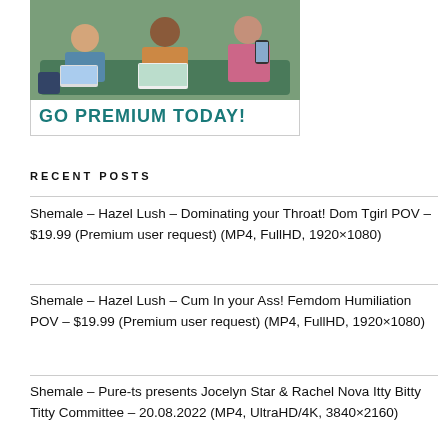[Figure (photo): Banner advertisement showing three young people sitting on a couch using laptops and phones, with text 'GO PREMIUM TODAY!' in teal bold font below.]
RECENT POSTS
Shemale – Hazel Lush – Dominating your Throat! Dom Tgirl POV – $19.99 (Premium user request) (MP4, FullHD, 1920×1080)
Shemale – Hazel Lush – Cum In your Ass! Femdom Humiliation POV – $19.99 (Premium user request) (MP4, FullHD, 1920×1080)
Shemale – Pure-ts presents Jocelyn Star & Rachel Nova Itty Bitty Titty Committee – 20.08.2022 (MP4, UltraHD/4K, 3840×2160)